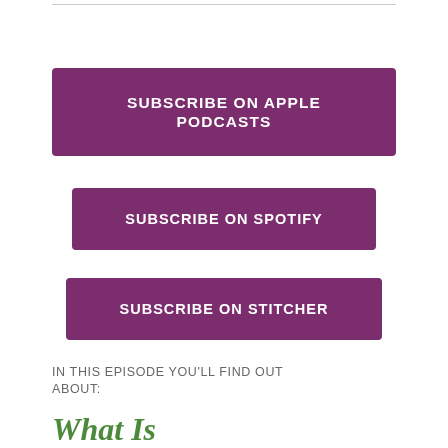SUBSCRIBE ON APPLE PODCASTS
SUBSCRIBE ON SPOTIFY
SUBSCRIBE ON STITCHER
IN THIS EPISODE YOU'LL FIND OUT ABOUT:
What Is